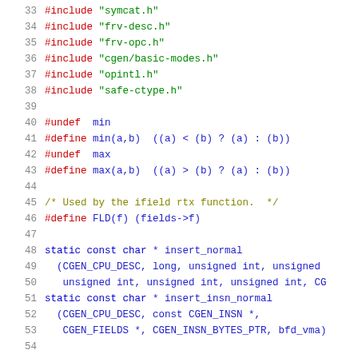[Figure (screenshot): Source code listing (C language) showing lines 33-54, with line numbers in gray on the left. Lines 33-38 show #include directives in red with green string filenames. Lines 40-43 show #undef and #define macros in red. Lines 45-46 show a comment and #define. Lines 48-53 show static function declarations in blue.]